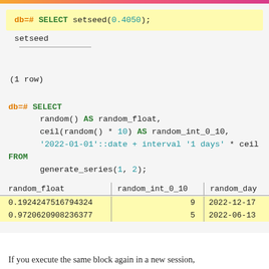[Figure (screenshot): PostgreSQL terminal session showing: db=# SELECT setseed(0.4050); with result showing setseed column header, horizontal rule, and (1 row). Then db=# SELECT random() AS random_float, ceil(random() * 10) AS random_int_0_10, '2022-01-01'::date + interval '1 days' * ceil FROM generate_series(1, 2); with result table showing columns random_float, random_int_0_10, random_day... and rows 0.1924247516794324 | 9 | 2022-12-17 and 0.9720620908236377 | 5 | 2022-06-13]
If you execute the same block again in a new session,